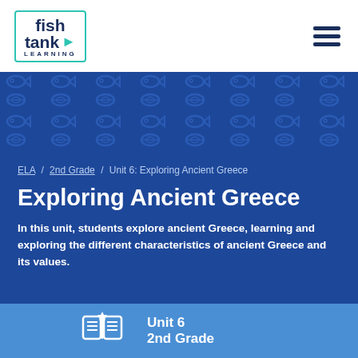fish tank LEARNING
[Figure (illustration): Decorative pattern band with teal fish and eye icons on dark blue background]
ELA / 2nd Grade / Unit 6: Exploring Ancient Greece
Exploring Ancient Greece
In this unit, students explore ancient Greece, learning and exploring the different characteristics of ancient Greece and its values.
[Figure (illustration): White open book / reading icon]
Unit 6
2nd Grade